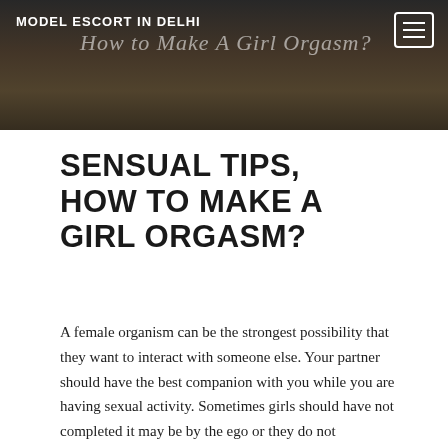MODEL ESCORT IN DELHI
[Figure (photo): Dark header image with an overlay showing 'How to Make A Girl Orgasm?' in italic script, with a person in the background]
SENSUAL TIPS, HOW TO MAKE A GIRL ORGASM?
A female organism can be the strongest possibility that they want to interact with someone else. Your partner should have the best companion with you while you are having sexual activity. Sometimes girls should have not completed it may be by the ego or they do not understand the situations. Turns out,